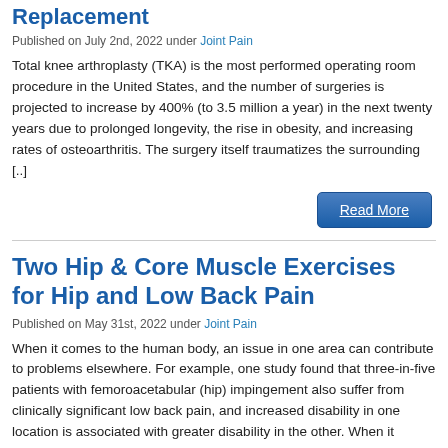Replacement
Published on July 2nd, 2022 under Joint Pain
Total knee arthroplasty (TKA) is the most performed operating room procedure in the United States, and the number of surgeries is projected to increase by 400% (to 3.5 million a year) in the next twenty years due to prolonged longevity, the rise in obesity, and increasing rates of osteoarthritis. The surgery itself traumatizes the surrounding [..]
Two Hip & Core Muscle Exercises for Hip and Low Back Pain
Published on May 31st, 2022 under Joint Pain
When it comes to the human body, an issue in one area can contribute to problems elsewhere. For example, one study found that three-in-five patients with femoroacetabular (hip) impingement also suffer from clinically significant low back pain, and increased disability in one location is associated with greater disability in the other. When it comes to [..]